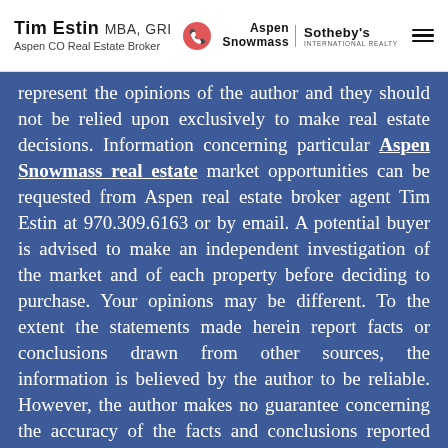Tim Estin MBA, GRI — Aspen CO Real Estate Broker | Aspen Snowmass | Sotheby's International Realty
represent the opinions of the author and they should not be relied upon exclusively to make real estate decisions. Information concerning particular Aspen Snowmass real estate market opportunities can be requested from Aspen real estate broker agent Tim Estin at 970.309.6163 or by email. A potential buyer is advised to make an independent investigation of the market and of each property before deciding to purchase. Your opinions may be different. To the extent the statements made herein report facts or conclusions drawn from other sources, the information is believed by the author to be reliable. However, the author makes no guarantee concerning the accuracy of the facts and conclusions reported herein and the information